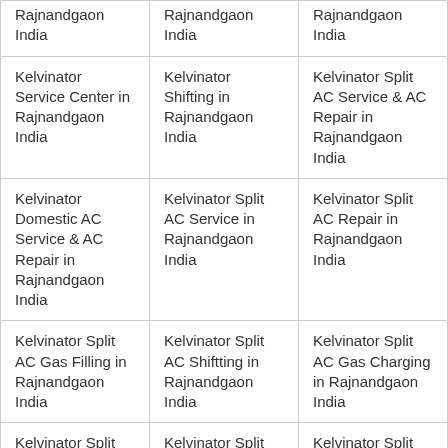| Rajnandgaon India | Rajnandgaon India | Rajnandgaon India |
| Kelvinator Service Center in Rajnandgaon India | Kelvinator Shifting in Rajnandgaon India | Kelvinator Split AC Service & AC Repair in Rajnandgaon India |
| Kelvinator Domestic AC Service & AC Repair in Rajnandgaon India | Kelvinator Split AC Service in Rajnandgaon India | Kelvinator Split AC Repair in Rajnandgaon India |
| Kelvinator Split AC Gas Filling in Rajnandgaon India | Kelvinator Split AC Shiftting in Rajnandgaon India | Kelvinator Split AC Gas Charging in Rajnandgaon India |
| Kelvinator Split AC PCB AC… | Kelvinator Split AC Fan Motor AC… | Kelvinator Split AC Fan Motor… |